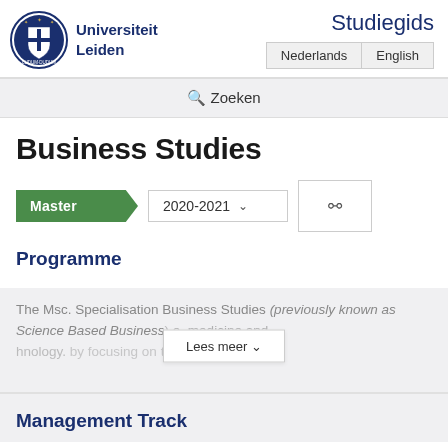Universiteit Leiden — Studiegids
Zoeken
Business Studies
Master  2020-2021
Programme
The Msc. Specialisation Business Studies (previously known as Science Based Business) ... e, medicine and ... by focusing on ... technology.
Lees meer
Management Track